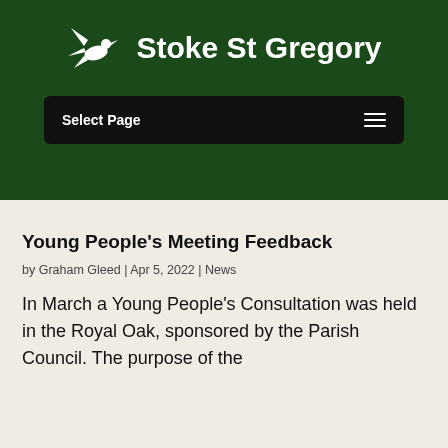Stoke St Gregory
Select Page
Young People's Meeting Feedback
by Graham Gleed | Apr 5, 2022 | News
In March a Young People's Consultation was held in the Royal Oak, sponsored by the Parish Council. The purpose of the